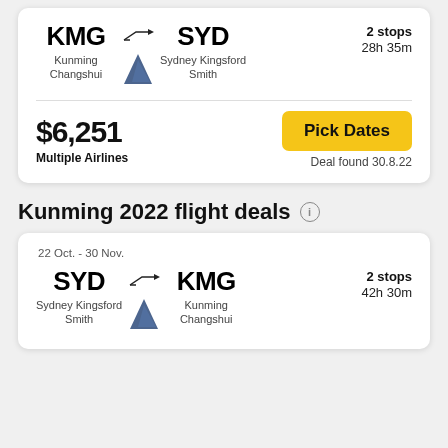KMG → SYD | 2 stops | 28h 35m | Kunming Changshui → Sydney Kingsford Smith
$6,251 | Multiple Airlines | Pick Dates | Deal found 30.8.22
Kunming 2022 flight deals
22 Oct. - 30 Nov.
SYD → KMG | 2 stops | 42h 30m | Sydney Kingsford Smith → Kunming Changshui